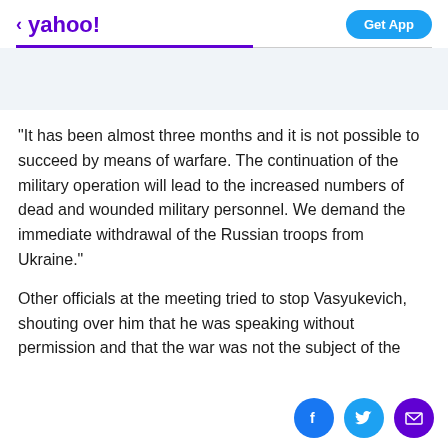< yahoo!  Get App
"It has been almost three months and it is not possible to succeed by means of warfare. The continuation of the military operation will lead to the increased numbers of dead and wounded military personnel. We demand the immediate withdrawal of the Russian troops from Ukraine."
Other officials at the meeting tried to stop Vasyukevich, shouting over him that he was speaking without permission and that the war was not the subject of the meeting.